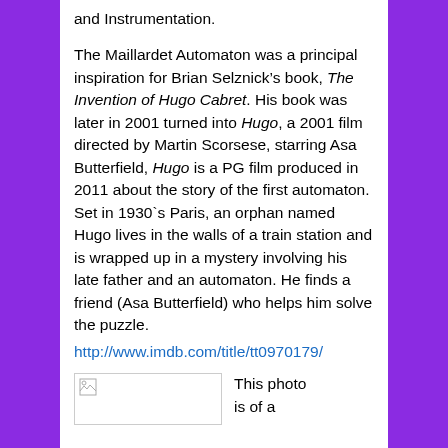and Instrumentation.
The Maillardet Automaton was a principal inspiration for Brian Selznick’s book, The Invention of Hugo Cabret. His book was later in 2001 turned into Hugo, a 2001 film directed by Martin Scorsese, starring Asa Butterfield, Hugo is a PG film produced in 2011 about the story of the first automaton. Set in 1930`s Paris, an orphan named Hugo lives in the walls of a train station and is wrapped up in a mystery involving his late father and an automaton. He finds a friend (Asa Butterfield) who helps him solve the puzzle.
http://www.imdb.com/title/tt0970179/
[Figure (photo): Broken image placeholder]
This photo is of a